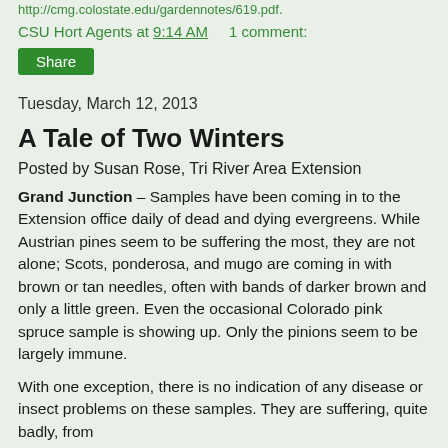http://cmg.colostate.edu/gardennotes/619.pdf.
CSU Hort Agents at 9:14 AM    1 comment:
Share
Tuesday, March 12, 2013
A Tale of Two Winters
Posted by Susan Rose, Tri River Area Extension
Grand Junction – Samples have been coming in to the Extension office daily of dead and dying evergreens.  While Austrian pines seem to be suffering the most, they are not alone; Scots, ponderosa, and mugo are coming in with brown or tan needles, often with bands of darker brown and only a little green.  Even the occasional Colorado pink spruce sample is showing up.  Only the pinions seem to be largely immune.
With one exception, there is no indication of any disease or insect problems on these samples.  They are suffering, quite badly, from